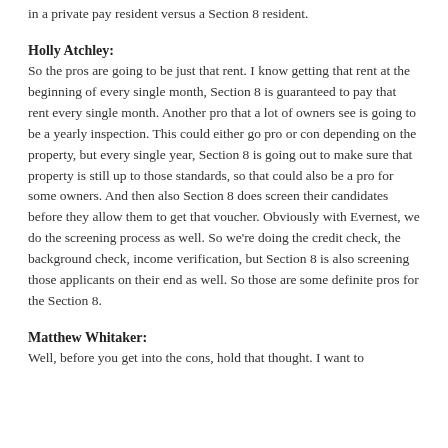in a private pay resident versus a Section 8 resident.
Holly Atchley:
So the pros are going to be just that rent. I know getting that rent at the beginning of every single month, Section 8 is guaranteed to pay that rent every single month. Another pro that a lot of owners see is going to be a yearly inspection. This could either go pro or con depending on the property, but every single year, Section 8 is going out to make sure that property is still up to those standards, so that could also be a pro for some owners. And then also Section 8 does screen their candidates before they allow them to get that voucher. Obviously with Evernest, we do the screening process as well. So we're doing the credit check, the background check, income verification, but Section 8 is also screening those applicants on their end as well. So those are some definite pros for the Section 8.
Matthew Whitaker:
Well, before you get into the cons, hold that thought. I want to